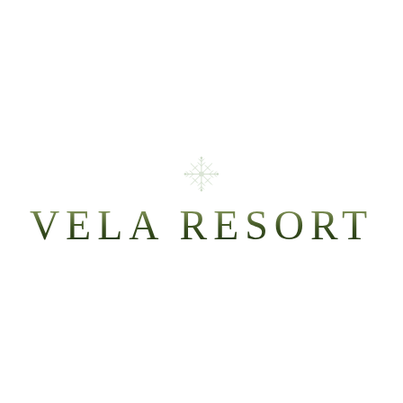[Figure (logo): Vela Resort logo: a decorative snowflake/botanical ornament above the text 'VELA RESORT' in serif uppercase letters with olive green gradient coloring]